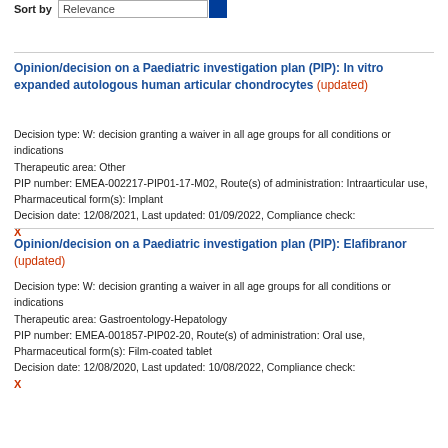Sort by  Relevance
Opinion/decision on a Paediatric investigation plan (PIP): In vitro expanded autologous human articular chondrocytes (updated)
Decision type: W: decision granting a waiver in all age groups for all conditions or indications
Therapeutic area: Other
PIP number: EMEA-002217-PIP01-17-M02, Route(s) of administration: Intraarticular use, Pharmaceutical form(s): Implant
Decision date: 12/08/2021, Last updated: 01/09/2022, Compliance check: X
Opinion/decision on a Paediatric investigation plan (PIP): Elafibranor (updated)
Decision type: W: decision granting a waiver in all age groups for all conditions or indications
Therapeutic area: Gastroentology-Hepatology
PIP number: EMEA-001857-PIP02-20, Route(s) of administration: Oral use, Pharmaceutical form(s): Film-coated tablet
Decision date: 12/08/2020, Last updated: 10/08/2022, Compliance check: X